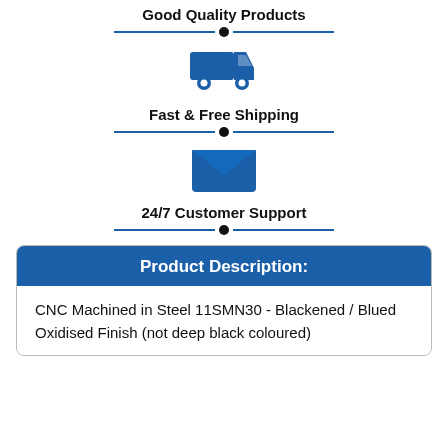Good Quality Products
[Figure (illustration): Blue truck/delivery vehicle icon]
Fast & Free Shipping
[Figure (illustration): Blue envelope/email icon]
24/7 Customer Support
Product Description:
CNC Machined in Steel 11SMN30 - Blackened / Blued Oxidised Finish (not deep black coloured)